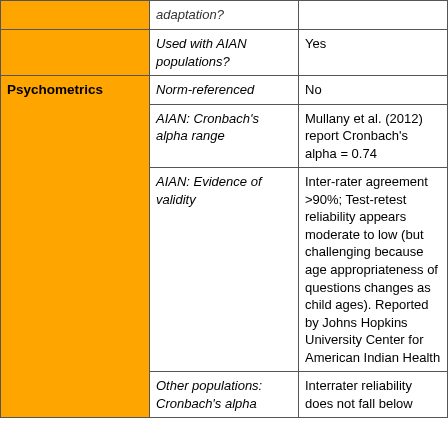|  |  |  |
| --- | --- | --- |
|  | adaptation? |  |
|  | Used with AIAN populations? | Yes |
| Psychometrics | Norm-referenced | No |
|  | AIAN: Cronbach's alpha range | Mullany et al. (2012) report Cronbach's alpha = 0.74 |
|  | AIAN: Evidence of validity | Inter-rater agreement >90%; Test-retest reliability appears moderate to low (but challenging because age appropriateness of questions changes as child ages). Reported by Johns Hopkins University Center for American Indian Health |
|  | Other populations: Cronbach's alpha | Interrater reliability does not fall below |